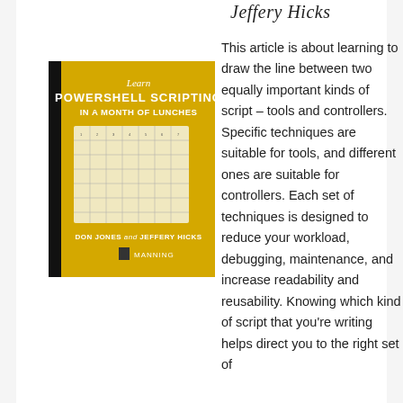Jeffery Hicks
[Figure (photo): Book cover of 'Learn PowerShell Scripting in a Month of Lunches' by Don Jones and Jeffery Hicks, published by Manning. Yellow cover with a calendar/schedule graphic and the Manning logo.]
This article is about learning to draw the line between two equally important kinds of script – tools and controllers. Specific techniques are suitable for tools, and different ones are suitable for controllers. Each set of techniques is designed to reduce your workload, debugging, maintenance, and increase readability and reusability. Knowing which kind of script that you're writing helps direct you to the right set of